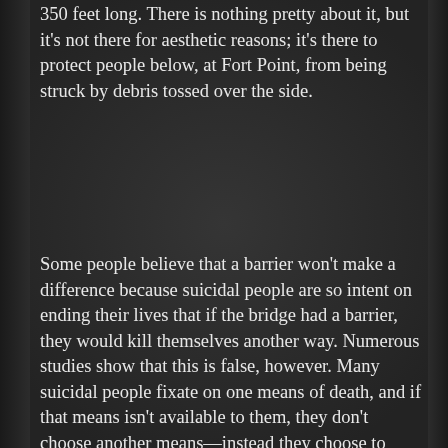350 feet long. There is nothing pretty about it, but it's not there for aesthetic reasons; it's there to protect people below, at Fort Point, from being struck by debris tossed over the side.
Some people believe that a barrier won't make a difference because suicidal people are so intent on ending their lives that if the bridge had a barrier, they would kill themselves another way. Numerous studies show that this is false, however. Many suicidal people fixate on one means of death, and if that means isn't available to them, they don't choose another means—instead they choose to live. In one study, researchers tracked what happened to 515 people who were stopped from jumping off the Golden Gate Bridge. Twenty-five years later, 94 percent of them were still alive or had died by means other than suicide. According to the Harvard School of Public Health, 90 percent of people who survive a suicide attempt don't go on to kill...